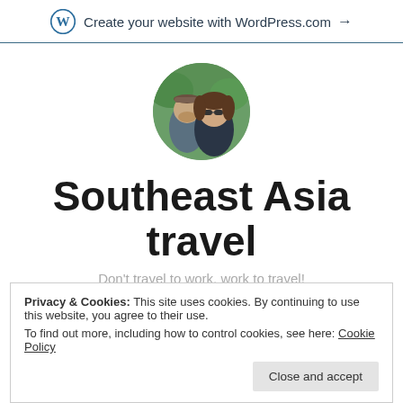Create your website with WordPress.com →
[Figure (photo): Circular profile photo of a couple (man and woman) outdoors with green foliage background]
Southeast Asia travel
Don't travel to work, work to travel!
Privacy & Cookies: This site uses cookies. By continuing to use this website, you agree to their use.
To find out more, including how to control cookies, see here: Cookie Policy
Close and accept